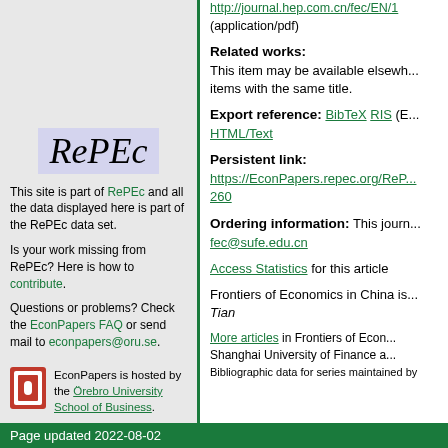http://journal.hep.com.cn/fec/EN/1 (application/pdf)
Related works: This item may be available elsewhere in EconPapers: Search for items with the same title.
Export reference: BibTeX RIS (EndNote, ...) HTML/Text
Persistent link: https://EconPapers.repec.org/Re... 260
Ordering information: This journal article can be ordered from fec@sufe.edu.cn
Access Statistics for this article
Frontiers of Economics in China is currently edited by Tian
More articles in Frontiers of Economics in China from Shanghai University of Finance a... Bibliographic data for series maintained by
[Figure (logo): RePEc logo - italic serif text on light purple/blue background highlight]
This site is part of RePEc and all the data displayed here is part of the RePEc data set.
Is your work missing from RePEc? Here is how to contribute.
Questions or problems? Check the EconPapers FAQ or send mail to econpapers@oru.se.
[Figure (logo): Örebro University shield/logo icon in red and white]
EconPapers is hosted by the Örebro University School of Business.
Page updated 2022-08-02